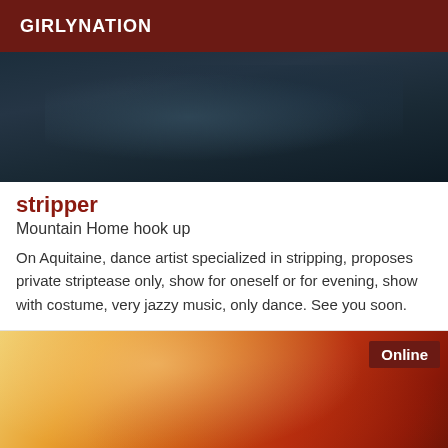GIRLYNATION
[Figure (photo): Dark-toned photo showing a person in dark clothing, partially visible, against a dark background]
stripper
Mountain Home hook up
On Aquitaine, dance artist specialized in stripping, proposes private striptease only, show for oneself or for evening, show with costume, very jazzy music, only dance. See you soon.
[Figure (photo): Close-up photo of a blonde woman in a red outfit, with an 'Online' badge in the top right corner]